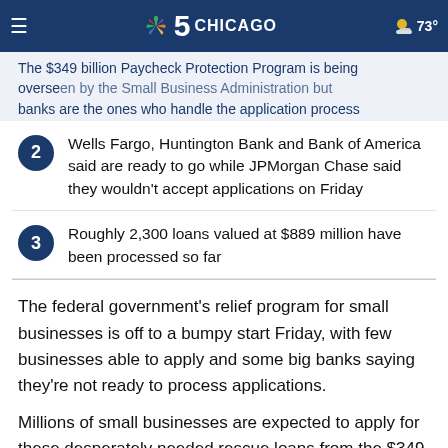NBC 5 Chicago — 73°
The $349 billion Paycheck Protection Program is being overseen by the Small Business Administration but banks are the ones who handle the application process
Wells Fargo, Huntington Bank and Bank of America said are ready to go while JPMorgan Chase said they wouldn't accept applications on Friday
Roughly 2,300 loans valued at $889 million have been processed so far
The federal government's relief program for small businesses is off to a bumpy start Friday, with few businesses able to apply and some big banks saying they're not ready to process applications.
Millions of small businesses are expected to apply for these desperately needed rescue loans from the $349 billion Paycheck Protection Program, which was put in place to